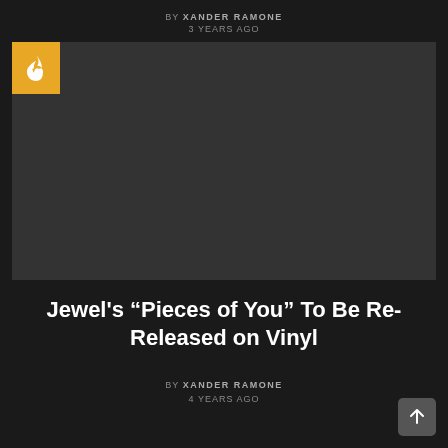BY XANDER RAMONE
3 YEARS AGO
[Figure (other): Dark placeholder image with an orange flame icon badge in the top-left corner]
Jewel's “Pieces of You” To Be Re-Released on Vinyl
BY XANDER RAMONE
4 YEARS AGO